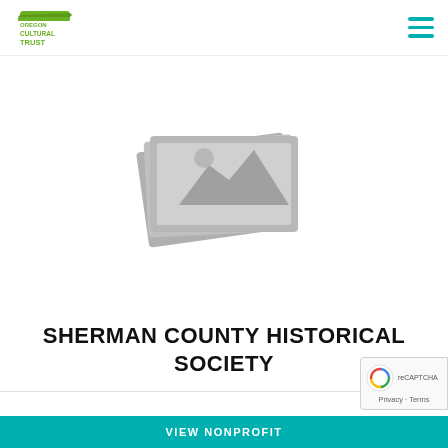Oregon Cultural Trust
[Figure (illustration): Gray placeholder image icon showing stacked photographs/images with mountain silhouette design]
SHERMAN COUNTY HISTORICAL SOCIETY
...
VIEW NONPROFIT